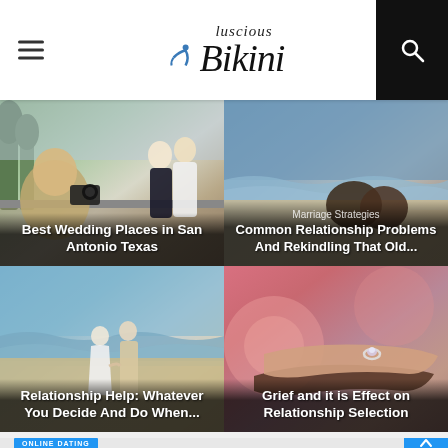Luscious Bikini — navigation header with menu, logo, and search
[Figure (photo): Wedding photographer shooting a couple kissing on a riverbank in Paris]
Best Wedding Places in San Antonio Texas
[Figure (photo): Couple sitting on a beach looking at the ocean]
Marriage Strategies
Common Relationship Problems And Rekindling That Old...
[Figure (photo): Couple walking hand in hand on a beach toward the ocean]
Relationship Help: Whatever You Decide And Do When...
[Figure (photo): Close-up of two hands holding, one with an engagement ring, with pink roses]
Grief and it is Effect on Relationship Selection
ONLINE DATING